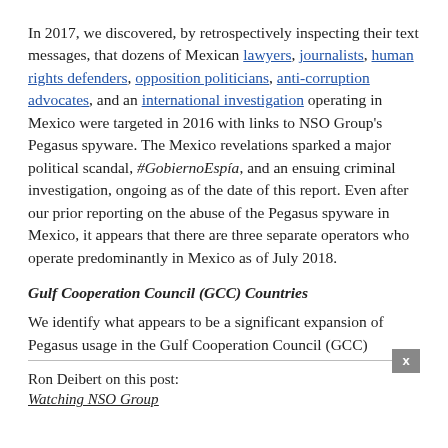In 2017, we discovered, by retrospectively inspecting their text messages, that dozens of Mexican lawyers, journalists, human rights defenders, opposition politicians, anti-corruption advocates, and an international investigation operating in Mexico were targeted in 2016 with links to NSO Group's Pegasus spyware. The Mexico revelations sparked a major political scandal, #GobiernoEspía, and an ensuing criminal investigation, ongoing as of the date of this report. Even after our prior reporting on the abuse of the Pegasus spyware in Mexico, it appears that there are three separate operators who operate predominantly in Mexico as of July 2018.
Gulf Cooperation Council (GCC) Countries
We identify what appears to be a significant expansion of Pegasus usage in the Gulf Cooperation Council (GCC)
Ron Deibert on this post:
Watching NSO Group